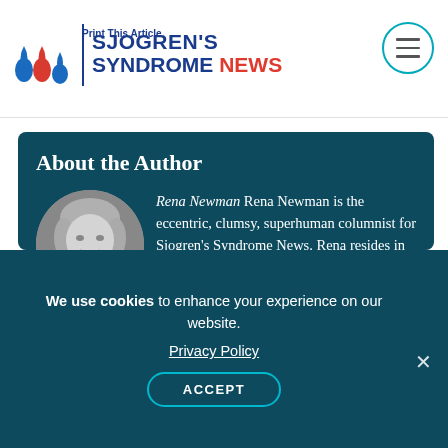Sjogren's Syndrome NEWS | Print This Article
About the Author
[Figure (photo): Black and white circular portrait photo of Rena Newman]
Rena Newman Rena Newman is the eccentric, clumsy, superhuman columnist for Sjogren's Syndrome News. Rena resides in Pensacola, Florida. She has a diverse work history which involved working in the legal field and mental health field. She
We use cookies to enhance your experience on our website. Privacy Policy ACCEPT